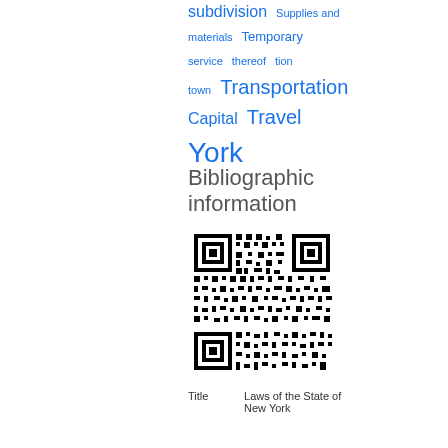subdivision Supplies and materials Temporary service thereof tion town Transportation Capital Travel York
Bibliographic information
[Figure (other): QR code for bibliographic information]
| Title | Laws of the State of New York |
| --- | --- |